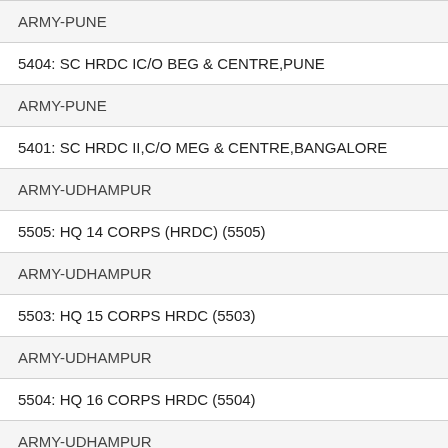ARMY-PUNE
5404: SC HRDC IC/O BEG & CENTRE,PUNE
ARMY-PUNE
5401: SC HRDC II,C/O MEG & CENTRE,BANGALORE
ARMY-UDHAMPUR
5505: HQ 14 CORPS (HRDC) (5505)
ARMY-UDHAMPUR
5503: HQ 15 CORPS HRDC (5503)
ARMY-UDHAMPUR
5504: HQ 16 CORPS HRDC (5504)
ARMY-UDHAMPUR
5510: HQ 19 INF DIV (5510)